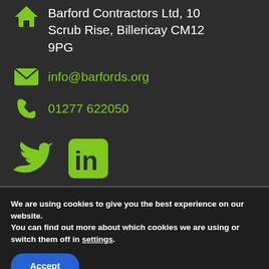Barford Contractors Ltd, 10 Scrub Rise, Billericay CM12 9PG
info@barfords.org
01277 622050
[Figure (illustration): Twitter bird icon and LinkedIn 'in' square icon, both in green]
We are using cookies to give you the best experience on our website.
You can find out more about which cookies we are using or switch them off in settings.
Accept